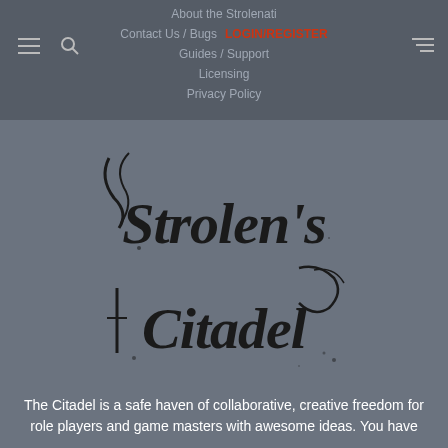About the Strolenati | Contact Us / Bugs | LOGIN/REGISTER | Guides / Support | Licensing | Privacy Policy
About the Strolenati
Contact Us / Bugs
LOGIN/REGISTER
Guides / Support
Licensing
Privacy Policy
[Figure (logo): Strolen's Citadel logo in gothic calligraphic black lettering on grey background, two-line layout: top line reads Strolen's, bottom line reads Citadel]
The Citadel is a safe haven of collaborative, creative freedom for role players and game masters with awesome ideas. You have